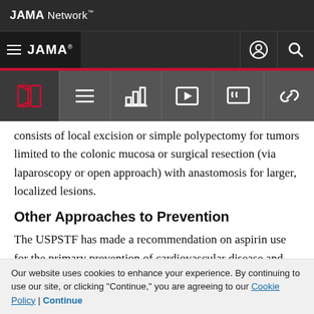JAMA Network
JAMA
consists of local excision or simple polypectomy for tumors limited to the colonic mucosa or surgical resection (via laparoscopy or open approach) with anastomosis for larger, localized lesions.
Other Approaches to Prevention
The USPSTF has made a recommendation on aspirin use for the primary prevention of cardiovascular disease and
Our website uses cookies to enhance your experience. By continuing to use our site, or clicking "Continue," you are agreeing to our Cookie Policy | Continue